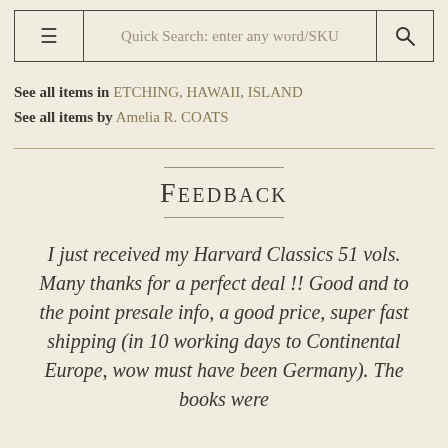≡  Quick Search: enter any word/SKU  🔍
See all items in ETCHING, HAWAII, ISLAND
See all items by Amelia R. COATS
FEEDBACK
I just received my Harvard Classics 51 vols. Many thanks for a perfect deal !! Good and to the point presale info, a good price, super fast shipping (in 10 working days to Continental Europe, wow must have been Germany). The books were...